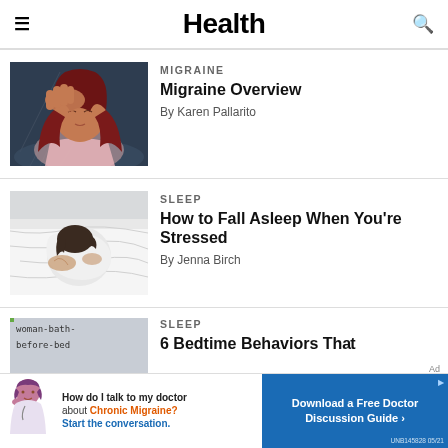Health
[Figure (illustration): Illustration of woman with red hair holding her head in pain on dark background, representing migraine]
MIGRAINE
Migraine Overview
By Karen Pallarito
[Figure (photo): Aerial view photo of woman lying in bed wrapped in white sheets, representing sleep stress]
SLEEP
How to Fall Asleep When You're Stressed
By Jenna Birch
SLEEP
[Figure (photo): Partial image of woman-bath-before-bed]
6 Bedtime Behaviors That
[Figure (infographic): Advertisement banner: How do I talk to my doctor about Chronic Migraine? Start the conversation. Download a Free Doctor Discussion Guide. UNB145828 05/21]